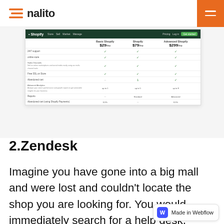Enalito
[Figure (screenshot): Screenshot of Shopify pricing comparison table showing Basic Shopify $29/mo, Shopify $79/mo, and Advanced Shopify $299/mo with feature comparison rows including 24/7 support, online store, sales channels, free SSL, abandoned cart recovery, and reporting.]
2.Zendesk
Imagine you have gone into a big mall and were lost and couldn’t locate the shop you are looking for. You would immediately search for a help desk, Wouldn’t you? Zendesk is also more like a help desk but with many other fascinating fe…